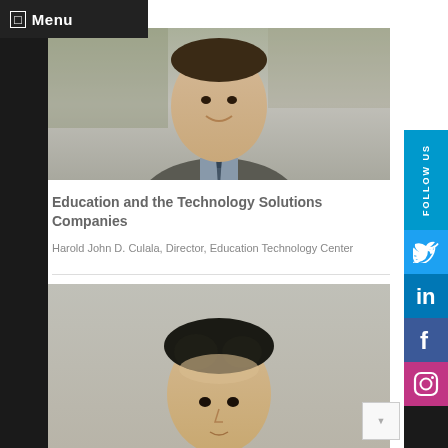Menu
[Figure (photo): Portrait photo of Harold John D. Culala, a man in a suit and tie, smiling, taken in an office/library setting]
Education and the Technology Solutions Companies
Harold John D. Culala, Director, Education Technology Center
[Figure (photo): Portrait photo of a second person, showing face and upper hair, neutral background]